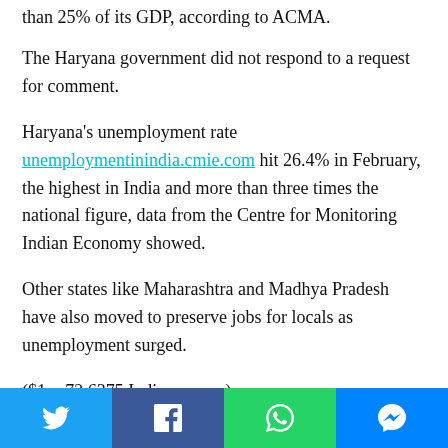than 25% of its GDP, according to ACMA.
The Haryana government did not respond to a request for comment.
Haryana's unemployment rate unemploymentinindia.cmie.com hit 26.4% in February, the highest in India and more than three times the national figure, data from the Centre for Monitoring Indian Economy showed.
Other states like Maharashtra and Madhya Pradesh have also moved to preserve jobs for locals as unemployment surged.
($1 = 72.6375 Indian rupees)
Inputs with Reuters
[Figure (infographic): Social share bar with four buttons: Twitter (blue), Facebook (dark blue), WhatsApp (green), Messenger (blue)]